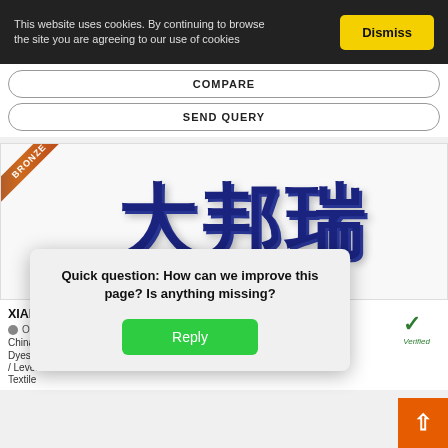This website uses cookies. By continuing to browse the site you are agreeing to our use of cookies
Dismiss
COMPARE
SEND QUERY
[Figure (logo): Company logo with large Chinese characters in dark blue with 3D effect, and a bronze ribbon badge in top-left corner]
XIAMEN DABON RETA PRINT & DYEING MATI CO.,LTD
Offline
China
Dyestu
/ Leveli
Textile
Quick question: How can we improve this page? Is anything missing?
Reply